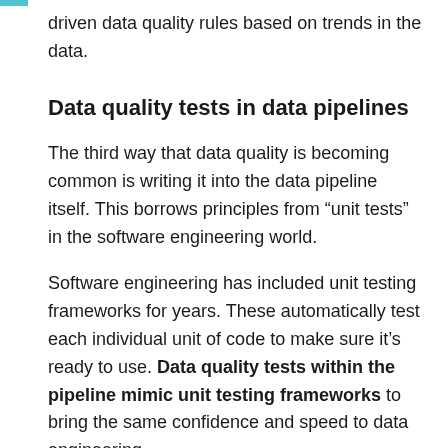driven data quality rules based on trends in the data.
Data quality tests in data pipelines
The third way that data quality is becoming common is writing it into the data pipeline itself. This borrows principles from “unit tests” in the software engineering world.
Software engineering has included unit testing frameworks for years. These automatically test each individual unit of code to make sure it’s ready to use. Data quality tests within the pipeline mimic unit testing frameworks to bring the same confidence and speed to data engineering